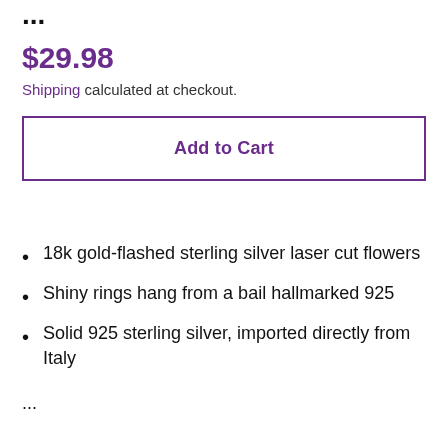...
$29.98
Shipping calculated at checkout.
Add to Cart
18k gold-flashed sterling silver laser cut flowers
Shiny rings hang from a bail hallmarked 925
Solid 925 sterling silver, imported directly from Italy
...